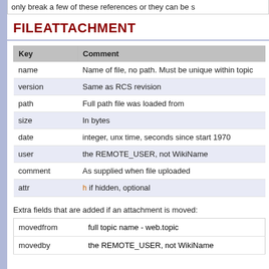only break a few of these references or they can be s
FILEATTACHMENT
| Key | Comment |
| --- | --- |
| name | Name of file, no path. Must be unique within topic |
| version | Same as RCS revision |
| path | Full path file was loaded from |
| size | In bytes |
| date | integer, unx time, seconds since start 1970 |
| user | the REMOTE_USER, not WikiName |
| comment | As supplied when file uploaded |
| attr | h if hidden, optional |
Extra fields that are added if an attachment is moved:
| movedfrom | full topic name - web.topic |
| movedby | the REMOTE_USER, not WikiName |